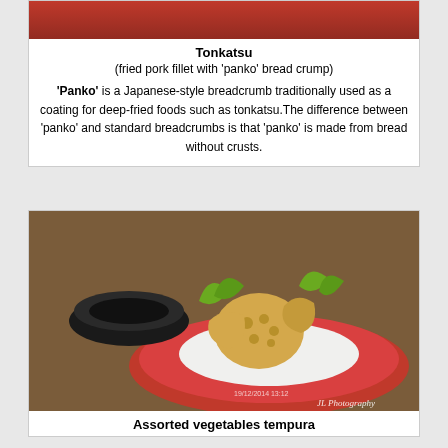[Figure (photo): Top portion of a Tonkatsu (fried pork fillet) photo with red background and watermark JL Photography]
Tonkatsu
(fried pork fillet with 'panko' bread crump)
'Panko' is a Japanese-style breadcrumb traditionally used as a coating for deep-fried foods such as tonkatsu.The difference between 'panko' and standard breadcrumbs is that 'panko' is made from bread without crusts.
[Figure (photo): Photo of assorted vegetables tempura on a red plate with a black bowl, dated 19/12/2014, watermark JL Photography]
Assorted vegetables tempura